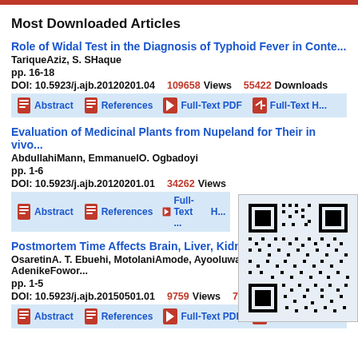Most Downloaded Articles
Role of Widal Test in the Diagnosis of Typhoid Fever in Conte...
TariqueAziz, S. SHaque
pp. 16-18
DOI: 10.5923/j.ajb.20120201.04   109658 Views   55422 Downloads
Abstract   References   Full-Text PDF   Full-Text H...
Evaluation of Medicinal Plants from Nupeland for Their in vivo...
AbdullahiMann, EmmanuelO. Ogbadoyi
pp. 1-6
DOI: 10.5923/j.ajb.20120201.01   34262 Views
Abstract   References   Full-Text ...   H...
[Figure (other): QR code for the journal page]
Postmortem Time Affects Brain, Liver, Kidney and Heart DNA...
OsaretinA. T. Ebuehi, MotolaniAmode, AyooluwaBalogun, AdenikeFowor...
pp. 1-5
DOI: 10.5923/j.ajb.20150501.01   9759 Views   7536 Downloads
Abstract   References   Full-Text PDF   Full-Text...